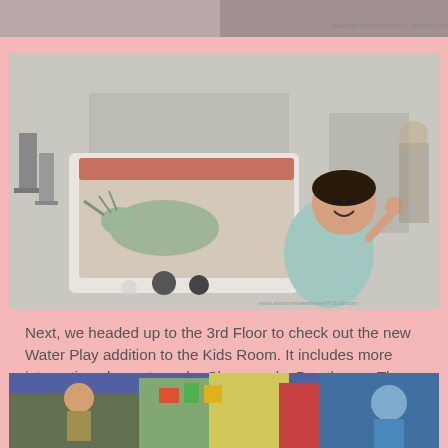[Figure (photo): Partial view of a photo at the top of the page, showing a museum exhibit scene]
[Figure (photo): A young girl smiling next to an interactive dinosaur kiosk/display showing a triceratops image, inside a museum]
Next, we headed up to the 3rd Floor to check out the new Water Play addition to the Kids Room. It includes more interactive elements and a Chesapeake Bay theme. There are pipes, spigots, sprayers and spouts to play with and even a water-spitting crab!
[Figure (photo): Children playing at a water play exhibit with colorful elements, partially visible at the bottom of the page]